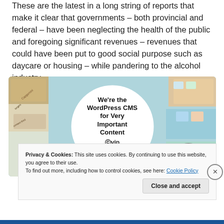These are the latest in a long string of reports that make it clear that governments – both provincial and federal – have been neglecting the health of the public and foregoing significant revenues – revenues that could have been put to good social purpose such as daycare or housing – while pandering to the alcohol industry.
[Figure (other): WordPress VIP advertisement banner with colorful company logo tiles in the background and a white circle in the center containing text: We're the WordPress CMS for Very Important Content, WPvip logo, and a Learn more button.]
Privacy & Cookies: This site uses cookies. By continuing to use this website, you agree to their use. To find out more, including how to control cookies, see here: Cookie Policy
Close and accept